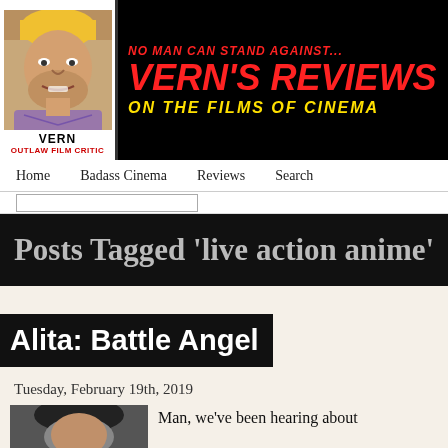[Figure (illustration): Comic-style illustration of a man (Vern) with blonde hair, labeled VERN OUTLAW FILM CRITIC]
NO MAN CAN STAND AGAINST... VERN'S REVIEWS ON THE FILMS OF CINEMA
Home  Badass Cinema  Reviews  Search
Posts Tagged 'live action anime'
Alita: Battle Angel
Tuesday, February 19th, 2019
Man, we've been hearing about